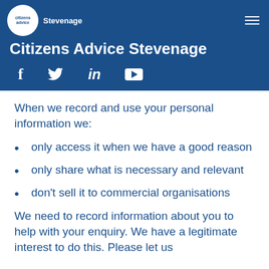[Figure (logo): Citizens Advice Stevenage logo with white circle containing 'citizens advice' text and 'Stevenage' label, social media icons (Facebook, Twitter, LinkedIn, YouTube), and site title on dark blue background]
When we record and use your personal information we:
only access it when we have a good reason
only share what is necessary and relevant
don't sell it to commercial organisations
We need to record information about you to help with your enquiry. We have a legitimate interest to do this. Please let us